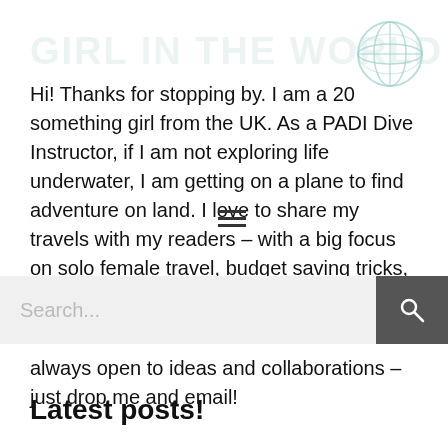Hi! Thanks for stopping by. I am a 20 something girl from the UK. As a PADI Dive Instructor, if I am not exploring life underwater, I am getting on a plane to find adventure on land. I love to share my travels with my readers – with a big focus on solo female travel, budget saving tricks, and of course Scuba Diving. I love to
always open to ideas and collaborations – just drop me and email!
Latest posts!